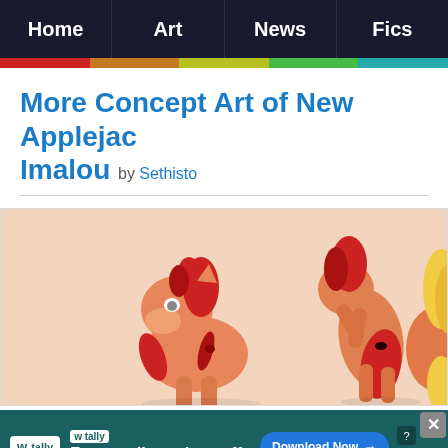Home | Art | News | Fics
More Concept Art of New Applejac Imalou by Sethisto
[Figure (illustration): Concept art illustration of pony characters (Applejack redesign) by Imalou, showing three stylized ponies with red hair on a peach/beige background]
Fast credit card payoff — tally — Download Now (advertisement banner)